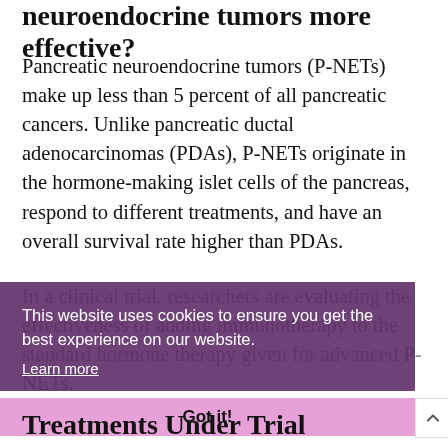neuroendocrine tumors more effective?
Pancreatic neuroendocrine tumors (P-NETs) make up less than 5 percent of all pancreatic cancers. Unlike pancreatic ductal adenocarcinomas (PDAs), P-NETs originate in the hormone-making islet cells of the pancreas, respond to different treatments, and have an overall survival rate higher than PDAs.
In a clinical trial, researchers are evaluating the effectiveness of adding immunotherapy to the standard hormone therapy given for advanced P-NETs.
This website uses cookies to ensure you get the best experience on our website. Learn more
Got it!
Treatments Under Trial